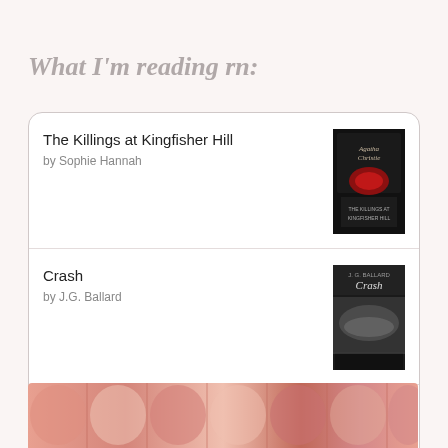What I'm reading rn:
The Killings at Kingfisher Hill
by Sophie Hannah
Crash
by J.G. Ballard
[Figure (logo): goodreads logo button with rounded rectangle border]
[Figure (photo): Close-up photo of pink/salmon tufted cushions or sofa]